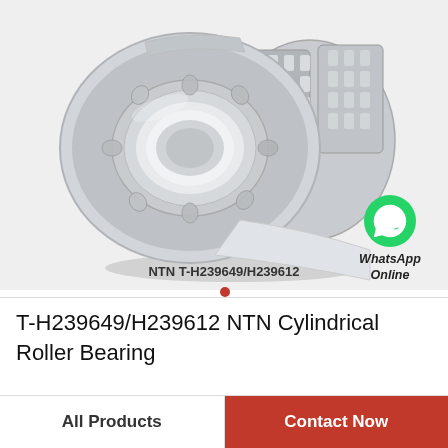[Figure (photo): NTN T-H239649/H239612 double-row tapered roller bearing shown in 3/4 perspective view on a light gray background. The bearing has a silver metallic finish with visible roller elements.]
NTN T-H239649/H239612
[Figure (logo): WhatsApp green circle icon with white phone handset graphic, with text 'WhatsApp Online' below it in italic bold.]
T-H239649/H239612 NTN Cylindrical Roller Bearing
All Products
Contact Now